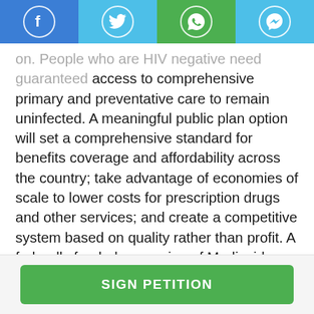Social media sharing bar with Facebook, Twitter, WhatsApp, and Messenger icons
on. People who are HIV negative need guaranteed access to comprehensive primary and preventative care to remain uninfected. A meaningful public plan option will set a comprehensive standard for benefits coverage and affordability across the country; take advantage of economies of scale to lower costs for prescription drugs and other services; and create a competitive system based on quality rather than profit. A federally funded expansion of Medicaid coverage to all low-income individuals up to 200% of the federal poverty level:[1] Medicaid serves as a lifeline for the people with AIDS that qualify for coverage. The cost sharing protections and benefits package
SIGN PETITION